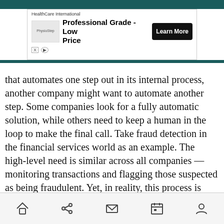[Figure (other): Advertisement banner for HealthCare International PhysioStep with 'Professional Grade - Low Price' headline and 'Learn More' button]
that automates one step out in its internal process, another company might want to automate another step. Some companies look for a fully automatic solution, while others need to keep a human in the loop to make the final call. Take fraud detection in the financial services world as an example. The high-level need is similar across all companies — monitoring transactions and flagging those suspected as being fraudulent. Yet, in reality, this process is complex, and banks rely on a range of tools, employees, teams and experts to combat fraud, and face regulation that varies between states and countries. Bottom line: these FIs share a common goal, but have very different needs to help them reaching it.
Navigation bar with home, share, mail, calendar, and user icons